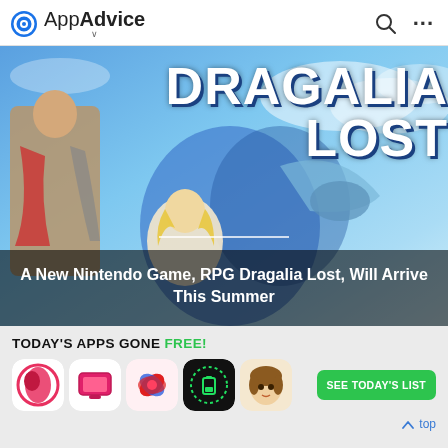AppAdvice
[Figure (screenshot): Hero banner for Dragalia Lost game showing animated characters and stylized title text 'DRAGALIA LOST' on a blue sky background]
A New Nintendo Game, RPG Dragalia Lost, Will Arrive This Summer
TODAY'S APPS GONE FREE!
[Figure (illustration): Row of five app icons for Today's Apps Gone Free section]
SEE TODAY'S LIST
top